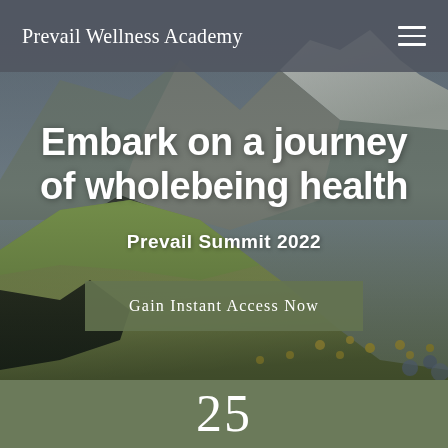Prevail Wellness Academy
[Figure (photo): Aerial mountain landscape with green slopes, rocky peaks covered in snow, and yellow wildflowers in the foreground. The scene shows dramatic alpine terrain with deep shadows and bright grassy ridges.]
Embark on a journey of wholebeing health
Prevail Summit 2022
Gain Instant Access Now
25